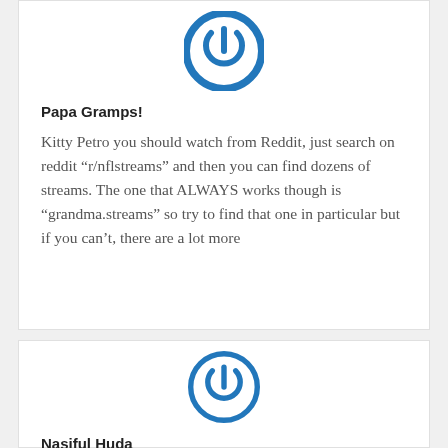[Figure (logo): Blue power button icon / avatar for Papa Gramps!]
Papa Gramps!
Kitty Petro you should watch from Reddit, just search on reddit “r/nflstreams” and then you can find dozens of streams. The one that ALWAYS works though is “grandma.streams” so try to find that one in particular but if you can’t, there are a lot more
[Figure (logo): Blue power button icon / avatar for Nasiful Huda]
Nasiful Huda
I’m representing the flock from NYC!!! I’m proud to be a Ravens fan!!! RAVENS FLOCK!!!